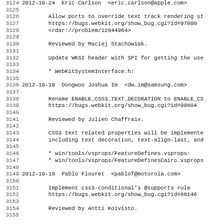Source code commit log lines 3124-3155, WebKit changelog
3124 2012-10-24  Eric Carlson  <eric.carlson@apple.com>
3125
3126         Allow ports to override text track rendering st
3127         https://bugs.webkit.org/show_bug.cgi?id=97800
3128         <rdar://problem/12044964>
3129
3130         Reviewed by Maciej Stachowiak.
3131
3132         Update WKSI header with SPI for getting the use
3133
3134         * WebKitSystemInterface.h:
3135
3136 2012-10-19  Dongwoo Joshua Im  <dw.im@samsung.com>
3137
3138         Rename ENABLE_CSS3_TEXT_DECORATION to ENABLE_CS
3139         https://bugs.webkit.org/show_bug.cgi?id=99804
3140
3141         Reviewed by Julien Chaffraix.
3142
3143         CSS3 text related properties will be implemente
3144         including text decoration, text-align-last, and
3145
3146         * win/tools/vsprops/FeatureDefines.vsprops:
3147         * win/tools/vsprops/FeatureDefinesCairo.vsprops
3148
3149 2012-10-18  Pablo Flouret  <pablof@motorola.com>
3150
3151         Implement css3-conditional's @supports rule
3152         https://bugs.webkit.org/show_bug.cgi?id=86146
3153
3154         Reviewed by Antti Koivisto.
3155